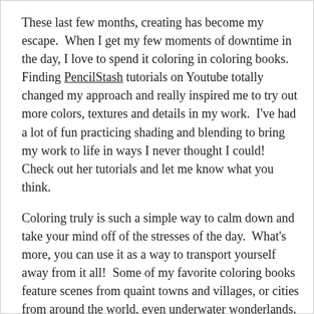These last few months, creating has become my escape.  When I get my few moments of downtime in the day, I love to spend it coloring in coloring books.  Finding PencilStash tutorials on Youtube totally changed my approach and really inspired me to try out more colors, textures and details in my work.  I've had a lot of fun practicing shading and blending to bring my work to life in ways I never thought I could!  Check out her tutorials and let me know what you think.
Coloring truly is such a simple way to calm down and take your mind off of the stresses of the day.  What's more, you can use it as a way to transport yourself away from it all!  Some of my favorite coloring books feature scenes from quaint towns and villages, or cities from around the world, even underwater wonderlands.  To travel without moving, check out Eriy's Romantic Country, Tanya Bogema Stolova's Nice Little Town series, Rosie Goodwin's